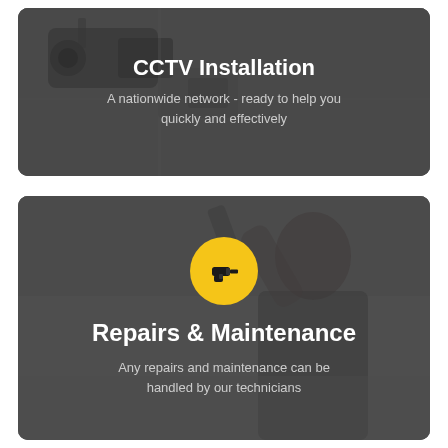[Figure (photo): Top card with dark grey background showing CCTV camera hardware in background. Contains title 'CCTV Installation' and subtitle text.]
CCTV Installation
A nationwide network - ready to help you quickly and effectively
[Figure (photo): Bottom card with dark grey background showing a young technician installing something overhead. Contains a yellow circle icon with drill, title 'Repairs & Maintenance' and subtitle text.]
Repairs & Maintenance
Any repairs and maintenance can be handled by our technicians